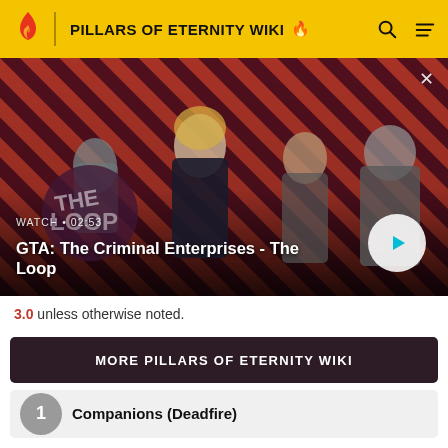PILLARS OF ETERNITY WIKI
[Figure (screenshot): Video thumbnail showing GTA: The Criminal Enterprises - The Loop with game characters on a striped red/dark background. Shows WATCH • 02:53 label, video title, and a play button.]
3.0 unless otherwise noted.
MORE PILLARS OF ETERNITY WIKI
Companions (Deadfire)